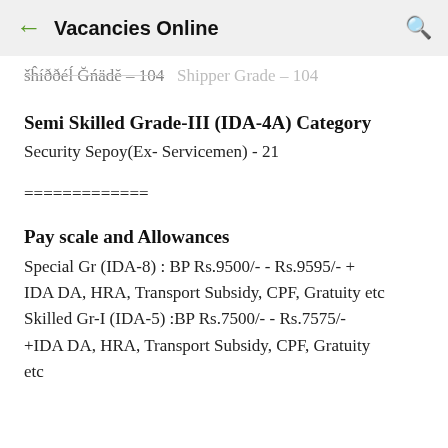← Vacancies Online 🔍
Shipper Grade – 104
Semi Skilled Grade-III (IDA-4A) Category
Security Sepoy(Ex- Servicemen) - 21
=============
Pay scale and Allowances
Special Gr (IDA-8) : BP Rs.9500/- - Rs.9595/- + IDA DA, HRA, Transport Subsidy, CPF, Gratuity etc Skilled Gr-I (IDA-5) :BP Rs.7500/- - Rs.7575/- +IDA DA, HRA, Transport Subsidy, CPF, Gratuity etc